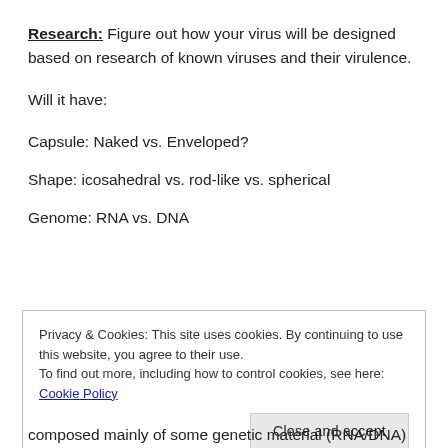Research: Figure out how your virus will be designed based on research of known viruses and their virulence.
Will it have:
Capsule: Naked vs. Enveloped?
Shape: icosahedral vs. rod-like vs. spherical
Genome: RNA vs. DNA
Privacy & Cookies: This site uses cookies. By continuing to use this website, you agree to their use.
To find out more, including how to control cookies, see here: Cookie Policy
Close and accept
composed mainly of some genetic material (RNA/DNA)